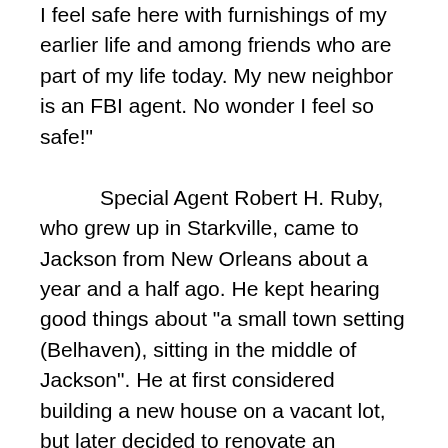I feel safe here with furnishings of my earlier life and among friends who are part of my life today. My new neighbor is an FBI agent. No wonder I feel so safe!"

        Special Agent Robert H. Ruby, who grew up in Starkville, came to Jackson from New Orleans about a year and a half ago. He kept hearing good things about "a small town setting (Belhaven), sitting in the middle of Jackson". He at first considered building a new house on a vacant lot, but later decided to renovate an existing structure in Fondren or Belhaven. A Belhaven realtor told him about one of the Sylvandell homes which had fallen into serious disrepair. Upon first inspection of the property Robert said "no way". But the more he learned of the neighborhood the more determined he was to live not only in Belhaven but that very house. His decision was made. "It took 13 months from the time I obtained the property to get the multitude of clearances from the city which had originally wanted to demolish the existing